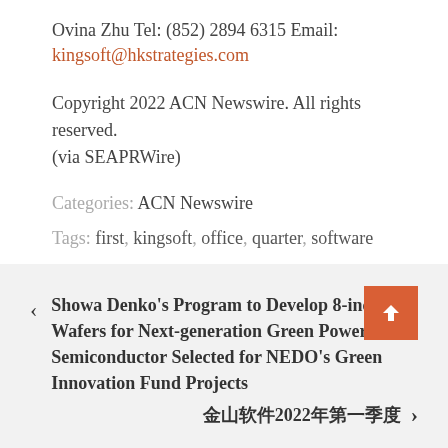Ovina Zhu Tel: (852) 2894 6315 Email: kingsoft@hkstrategies.com
Copyright 2022 ACN Newswire. All rights reserved. (via SEAPRWire)
Categories: ACN Newswire
Tags: first, kingsoft, office, quarter, software
< Showa Denko's Program to Develop 8-inch SiC Wafers for Next-generation Green Power Semiconductor Selected for NEDO's Green Innovation Fund Projects
金山软件2022年... >